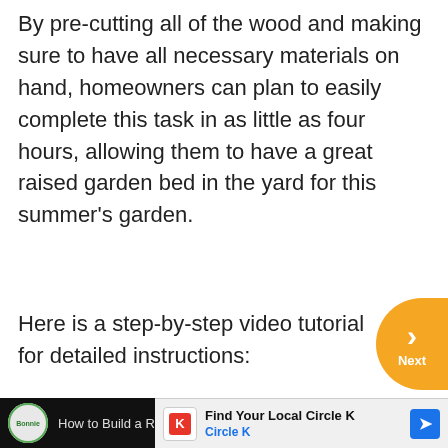By pre-cutting all of the wood and making sure to have all necessary materials on hand, homeowners can plan to easily complete this task in as little as four hours, allowing them to have a great raised garden bed in the yard for this summer's garden.
Here is a step-by-step video tutorial for detailed instructions:
[Figure (screenshot): A YouTube video thumbnail/player showing 'How to Build a Raised Bed with Benc' with the Bonnie Plants logo on the left, dark background, and a three-dot menu icon.]
[Figure (screenshot): An advertisement overlay showing 'Find Your Local Circle K' with Circle K logo in red square, blue navigation arrow icon on the right, and Circle K subtitle in blue text.]